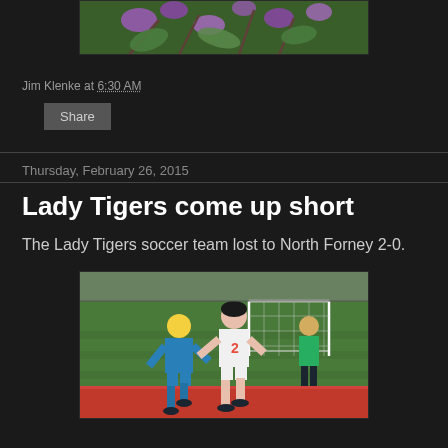[Figure (photo): Partial photo of flowers/nature scene - purple flowers on dark green branches, bottom portion visible]
Jim Klenke at 6:30 AM
Share
Thursday, February 26, 2015
Lady Tigers come up short
The Lady Tigers soccer team lost to North Forney 2-0.
[Figure (photo): Girls soccer game: player in white jersey number 2 competing against player in blue jersey on a red and green turf field, with a goal and referee in green vest visible in background]